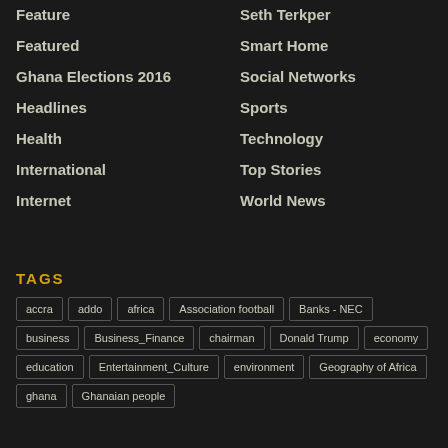Feature
Featured
Ghana Elections 2016
Headlines
Health
International
Internet
Seth Terkper
Smart Home
Social Networks
Sports
Technology
Top Stories
World News
TAGS
accra
addo
africa
Association football
Banks - NEC
business
Business_Finance
chairman
Donald Trump
economy
education
Entertainment_Culture
environment
Geography of Africa
ghana
Ghanaian people